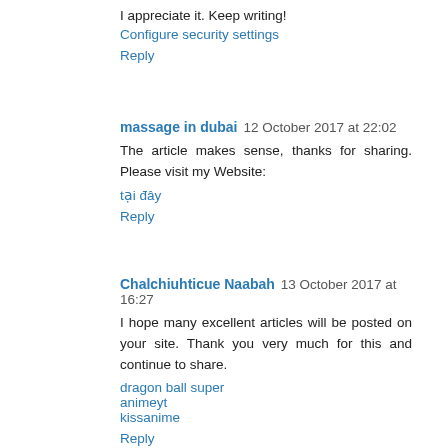I appreciate it. Keep writing!
Configure security settings
Reply
massage in dubai  12 October 2017 at 22:02
The article makes sense, thanks for sharing. Please visit my Website:
tại đây
Reply
Chalchiuhticue Naabah  13 October 2017 at 16:27
I hope many excellent articles will be posted on your site. Thank you very much for this and continue to share.
dragon ball super
animeyt
kissanime
Reply